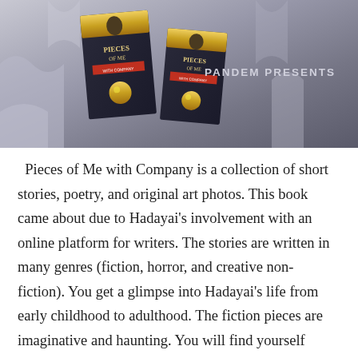[Figure (photo): Photo of two copies of the book 'Pieces of Me with Company' displayed on puzzle pieces background with text 'PANDEM PRESENTS' on the right side.]
Pieces of Me with Company is a collection of short stories, poetry, and original art photos. This book came about due to Hadayai's involvement with an online platform for writers. The stories are written in many genres (fiction, horror, and creative non-fiction). You get a glimpse into Hadayai's life from early childhood to adulthood. The fiction pieces are imaginative and haunting. You will find yourself experiencing a range of emotions from amusement to utter surprise. The poetry is reflective and challenging and the original pieces of art are imaginative.
https://www.amazon.com/Pieces-Me-Company-Hadayai-